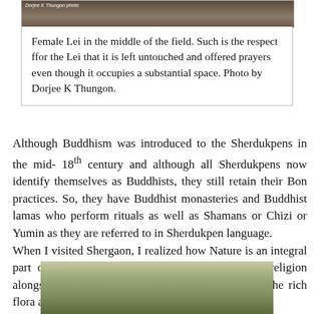[Figure (photo): Top portion of a photograph showing a field, with a photo credit reading 'Dorjee K Thungon photo']
Female Lei in the middle of the field. Such is the respect ffor the Lei that it is left untouched and offered prayers even though it occupies a substantial space. Photo by Dorjee K Thungon.
Although Buddhism was introduced to the Sherdukpens in the mid- 18th century and although all Sherdukpens now identify themselves as Buddhists, they still retain their Bon practices. So, they have Buddhist monasteries and Buddhist lamas who perform rituals as well as Shamans or Chizi or Yumin as they are referred to in Sherdukpen language.
When I visited Shergaon, I realized how Nature is an integral part of their lives and how the survival of Bon religion alongside mainstream religion has helped preserve the rich flora and fauna and forests of Arunachal Pradesh.
[Figure (photo): Bottom portion of a photograph showing trees and forest landscape]